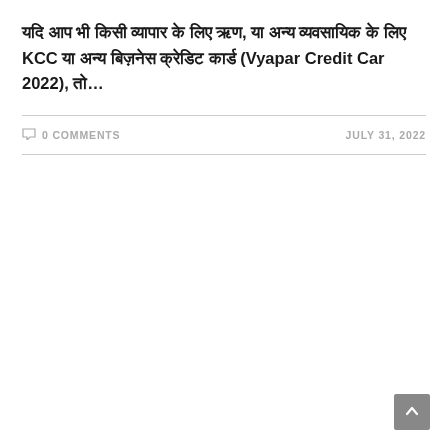यदि आप भी किसी व्यापार के लिए ऋण, या अन्य व्यवसायिक के लिए KCC या अन्य बिज़नेस क्रेडिट कार्ड (Vyapar Credit Car 2022), तो…
0 COMMENTS    JULY 31, 2022